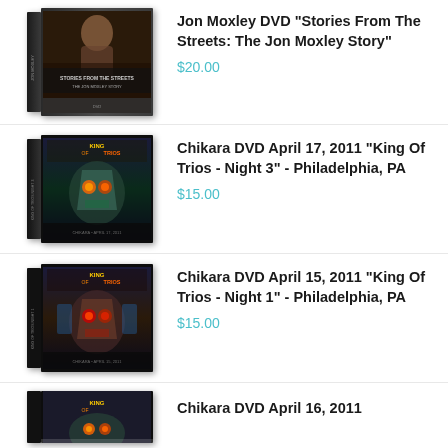[Figure (photo): DVD cover for Jon Moxley 'Stories From The Streets: The Jon Moxley Story']
Jon Moxley DVD "Stories From The Streets: The Jon Moxley Story"
$20.00
[Figure (photo): DVD cover for Chikara DVD April 17, 2011 King Of Trios - Night 3 - Philadelphia, PA]
Chikara DVD April 17, 2011 "King Of Trios - Night 3" - Philadelphia, PA
$15.00
[Figure (photo): DVD cover for Chikara DVD April 15, 2011 King Of Trios - Night 1 - Philadelphia, PA]
Chikara DVD April 15, 2011 "King Of Trios - Night 1" - Philadelphia, PA
$15.00
[Figure (photo): DVD cover for Chikara DVD April 16, 2011 (partially visible)]
Chikara DVD April 16, 2011